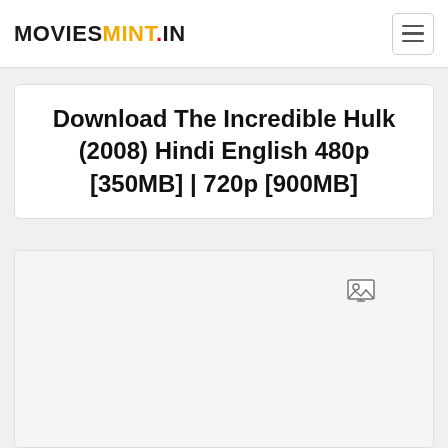MOVIESMINT.IN
Download The Incredible Hulk (2008) Hindi English 480p [350MB] | 720p [900MB]
[Figure (photo): Image placeholder area with a small broken image icon visible in the upper right area of the card]